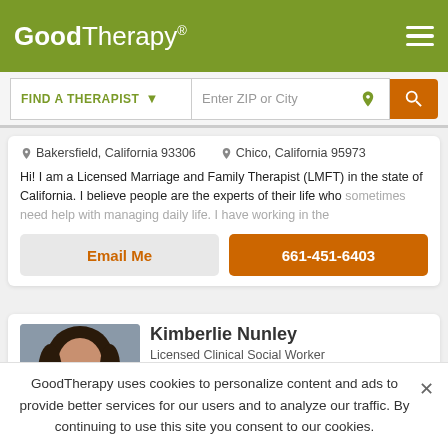GoodTherapy®
FIND A THERAPIST   Enter ZIP or City
📍 Bakersfield, California 93306    📍 Chico, California 95973
Hi! I am a Licensed Marriage and Family Therapist (LMFT) in the state of California. I believe people are the experts of their life who sometimes need help with managing daily life. I have working in the
Email Me   661-451-6403
Kimberlie Nunley
Licensed Clinical Social Worker
Clinical Social Work...
GoodTherapy uses cookies to personalize content and ads to provide better services for our users and to analyze our traffic. By continuing to use this site you consent to our cookies.